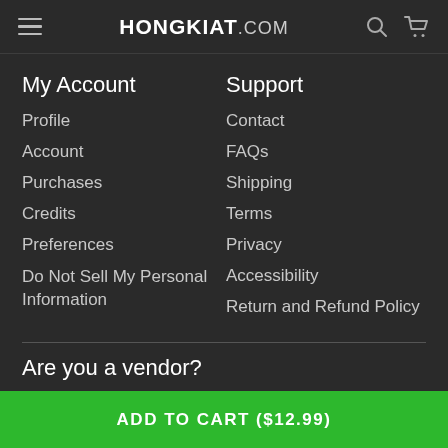HONGKIAT.COM
My Account
Profile
Account
Purchases
Credits
Preferences
Do Not Sell My Personal Information
Support
Contact
FAQs
Shipping
Terms
Privacy
Accessibility
Return and Refund Policy
Are you a vendor?
Get exclusive coverage to the world's top publisher sites through
ADD TO CART ($12.99)